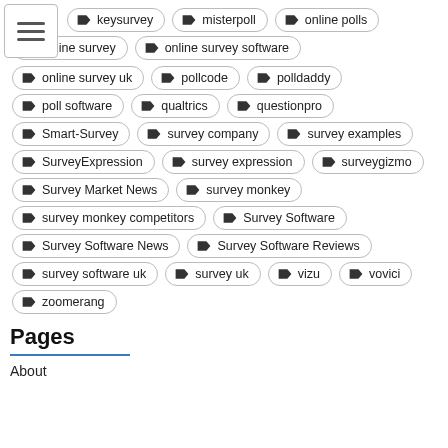keysurvey
misterpoll
online polls
online survey
online survey software
online survey uk
pollcode
polldaddy
poll software
qualtrics
questionpro
Smart-Survey
survey company
survey examples
SurveyExpression
survey expression
surveygizmo
Survey Market News
survey monkey
survey monkey competitors
Survey Software
Survey Software News
Survey Software Reviews
survey software uk
survey uk
vizu
vovici
zoomerang
Pages
About